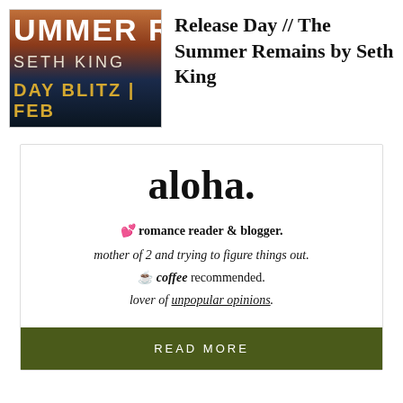[Figure (illustration): Book cover for The Summer Remains by Seth King showing warm sunset colors with text 'SUMMER R', 'SETH KING', 'DAY BLITZ | FEB']
Release Day // The Summer Remains by Seth King
aloha.
💕 romance reader & blogger.
mother of 2 and trying to figure things out.
☕ coffee recommended.
lover of unpopular opinions.
READ MORE